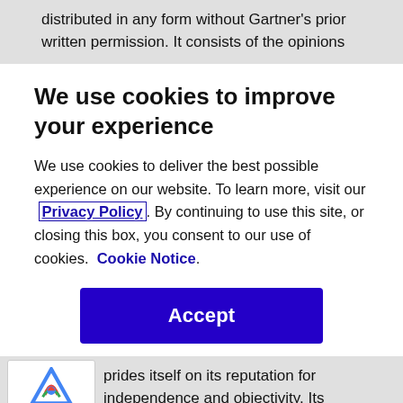distributed in any form without Gartner's prior written permission. It consists of the opinions
We use cookies to improve your experience
We use cookies to deliver the best possible experience on our website. To learn more, visit our Privacy Policy. By continuing to use this site, or closing this box, you consent to our use of cookies. Cookie Notice.
Accept
prides itself on its reputation for independence and objectivity. Its research is produced independently by its research organization without input or influence from